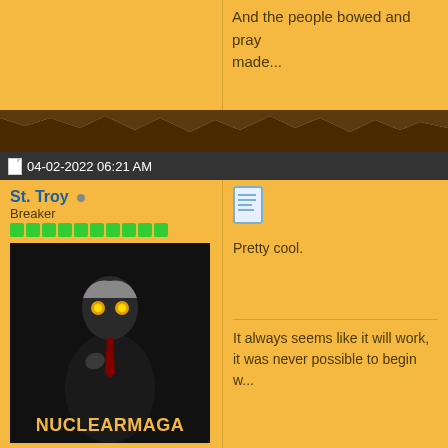And the people bowed and pray... made...
04-02-2022 06:21 AM
St. Troy
Breaker
[Figure (photo): Avatar image showing a dark suited figure with glowing orange eyes, with text NUCLEAR MAGA at the bottom in orange]
Join Date: Apr 2016
Location: ...parts unknown...
Posts: 4,880
My Mood: Yeehaw
Gender :
[Figure (illustration): Blue document/quote icon]
Pretty cool.
It always seems like it will work, it was never possible to begin w...